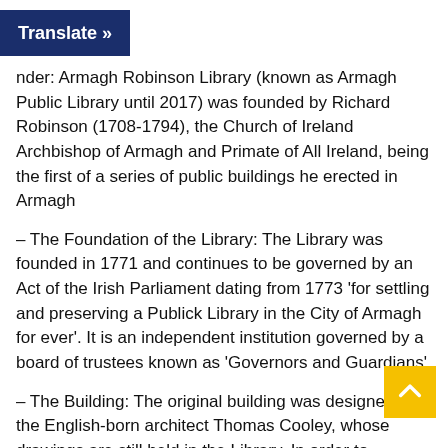Translate »
nder: Armagh Robinson Library (known as Armagh Public Library until 2017) was founded by Richard Robinson (1708-1794), the Church of Ireland Archbishop of Armagh and Primate of All Ireland, being the first of a series of public buildings he erected in Armagh
– The Foundation of the Library: The Library was founded in 1771 and continues to be governed by an Act of the Irish Parliament dating from 1773 'for settling and preserving a Publick Library in the City of Armagh for ever'. It is an independent institution governed by a board of trustees known as 'Governors and Guardians'.
– The Building: The original building was designed by the English-born architect Thomas Cooley, whose drawings are still held in the Library. In order to accommodate the growing collections, the Library was extended in the mid-1840s when the architect was Robert Law Monsarrat.
– The Collections: The founding collections provided by Archbishop Robinson (8,000 books, along with prints, gems, coins and medals) have been added to during the years through the